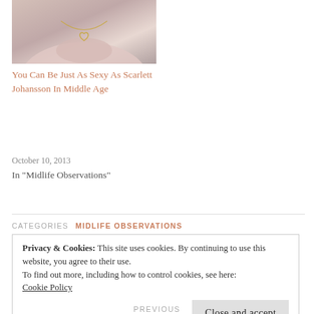[Figure (photo): Photo of a person wearing a pink top and a gold heart-shaped necklace, cropped to show the neck and chest area.]
You Can Be Just As Sexy As Scarlett Johansson In Middle Age
October 10, 2013
In "Midlife Observations"
CATEGORIES  MIDLIFE OBSERVATIONS
Privacy & Cookies: This site uses cookies. By continuing to use this website, you agree to their use.
To find out more, including how to control cookies, see here:
Cookie Policy
Close and accept
PREVIOUS